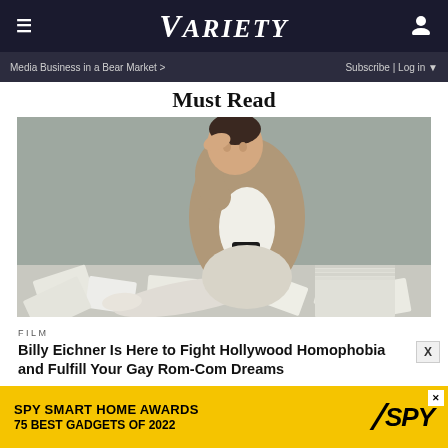VARIETY
Media Business in a Bear Market >    Subscribe | Log in
Must Read
[Figure (photo): Man in brown knit cardigan sitting on a stack of papers on the floor, hand on forehead, holding a camera, papers scattered around him on a gray background]
FILM
Billy Eichner Is Here to Fight Hollywood Homophobia and Fulfill Your Gay Rom-Com Dreams
[Figure (other): Advertisement banner: SPY SMART HOME AWARDS 75 BEST GADGETS OF 2022 with SPY logo on yellow background]